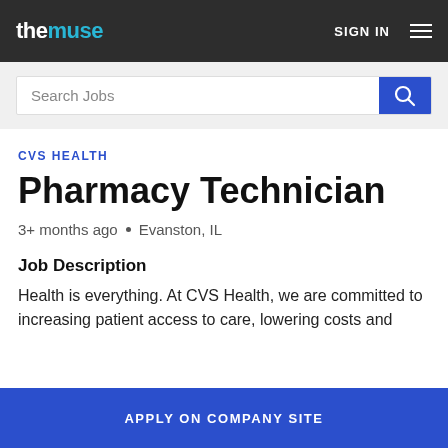the muse  SIGN IN
Search Jobs
CVS HEALTH
Pharmacy Technician
3+ months ago • Evanston, IL
Job Description
Health is everything. At CVS Health, we are committed to increasing patient access to care, lowering costs and
APPLY ON COMPANY SITE